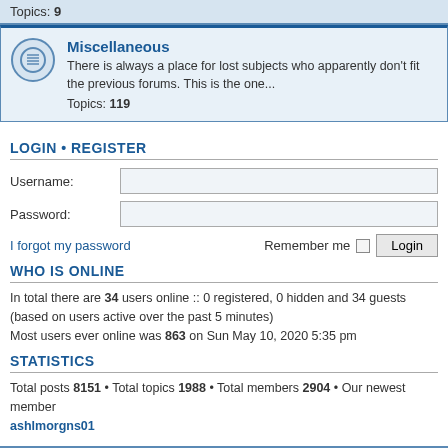Topics: 9
Miscellaneous
There is always a place for lost subjects who apparently don't fit the previous forums. This is the one... Topics: 119
LOGIN • REGISTER
Username:
Password:
I forgot my password
Remember me  Login
WHO IS ONLINE
In total there are 34 users online :: 0 registered, 0 hidden and 34 guests (based on users active over the past 5 minutes)
Most users ever online was 863 on Sun May 10, 2020 5:35 pm
STATISTICS
Total posts 8151 • Total topics 1988 • Total members 2904 • Our newest member ashlmorgns01
Board index  Delete cookies  All times are UTC
Powered by phpBB® Forum Software © phpBB Limited  Privacy | Terms